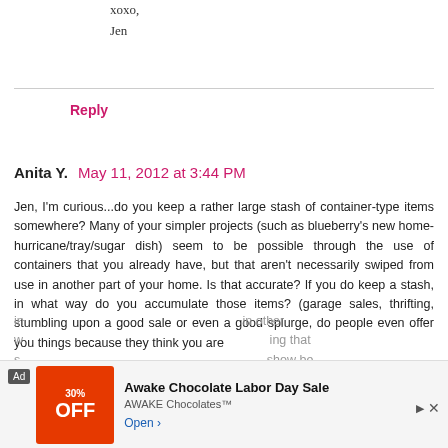xoxo,
Jen
Reply
Anita Y.  May 11, 2012 at 3:44 PM
Jen, I'm curious...do you keep a rather large stash of container-type items somewhere? Many of your simpler projects (such as blueberry's new home-hurricane/tray/sugar dish) seem to be possible through the use of containers that you already have, but that aren't necessarily swiped from use in another part of your home. Is that accurate? If you do keep a stash, in what way do you accumulate those items? (garage sales, thrifting, stumbling upon a good sale or even a good splurge, do people even offer you things because they think you are interesting... in other ways... ing that s... show be
[Figure (screenshot): Advertisement banner: 30% OFF - Awake Chocolate Labor Day Sale. AWAKE Chocolates. Open button.]